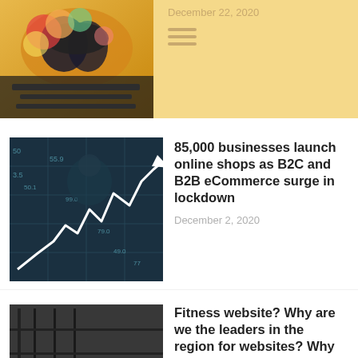December 22, 2020
[Figure (photo): Abstract colorful heatmap image at top left of page]
[Figure (photo): Stock market chart with person in background and glowing white line graph trending upward]
85,000 businesses launch online shops as B2C and B2B eCommerce surge in lockdown
December 2, 2020
[Figure (photo): Person doing push-ups in a dark gym environment with cookie consent popup overlay]
Fitness website? Why are we the leaders in the region for websites? Why do trainers own their websites more and more?
December 1, 2020